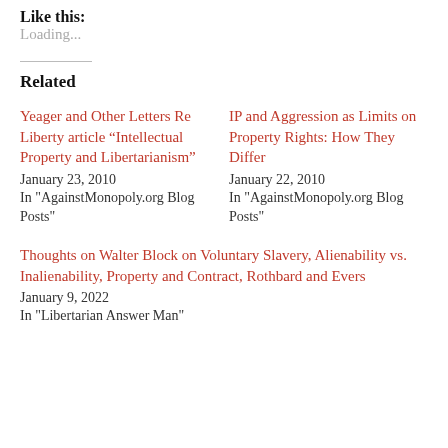Like this:
Loading...
Related
Yeager and Other Letters Re Liberty article “Intellectual Property and Libertarianism”
January 23, 2010
In "AgainstMonopoly.org Blog Posts"
IP and Aggression as Limits on Property Rights: How They Differ
January 22, 2010
In "AgainstMonopoly.org Blog Posts"
Thoughts on Walter Block on Voluntary Slavery, Alienability vs. Inalienability, Property and Contract, Rothbard and Evers
January 9, 2022
In "Libertarian Answer Man"